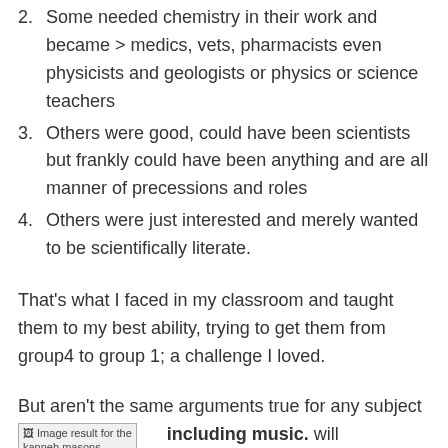2. Some needed chemistry in their work and became > medics, vets, pharmacists even physicists and geologists or physics or science teachers
3. Others were good, could have been scientists but frankly could have been anything and are all manner of precessions and roles
4. Others were just interested and merely wanted to be scientifically literate.
That's what I faced in my classroom and taught them to my best ability, trying to get them from group4 to group 1; a challenge I loved.
But aren't the same arguments true for any subject [Image result for the kanneh masons] including music. will become professional